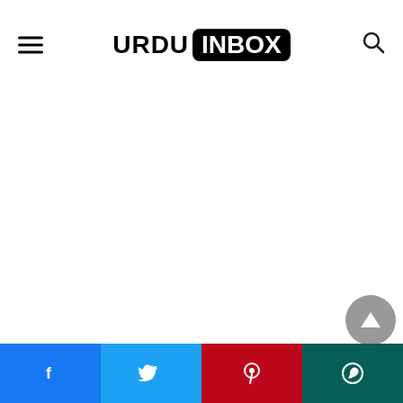URDU INBOX
[Figure (screenshot): BISE Lahore search by roll number widget showing logo, title, green search bar, and roll number input field]
Social share bar: Facebook, Twitter, Pinterest, WhatsApp